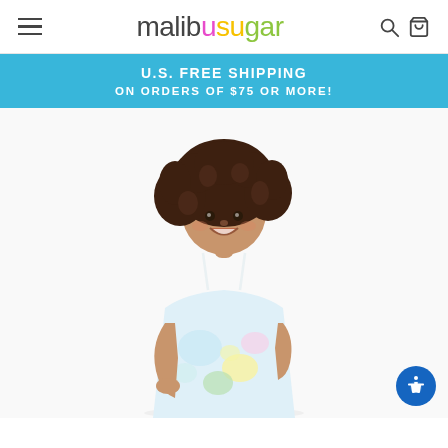malibusugar — navigation header with hamburger menu, logo, search and bag icons
U.S. FREE SHIPPING
ON ORDERS OF $75 OR MORE!
[Figure (photo): A smiling young girl with curly hair wearing a colorful pastel tie-dye spaghetti strap dress, posed with one hand on hip against a white background.]